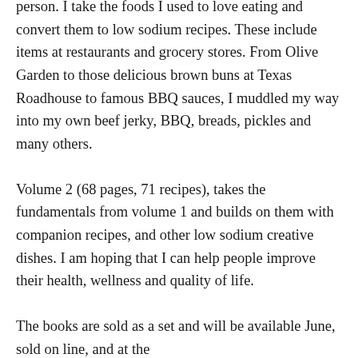person. I take the foods I used to love eating and convert them to low sodium recipes. These include items at restaurants and grocery stores. From Olive Garden to those delicious brown buns at Texas Roadhouse to famous BBQ sauces, I muddled my way into my own beef jerky, BBQ, breads, pickles and many others.
Volume 2 (68 pages, 71 recipes), takes the fundamentals from volume 1 and builds on them with companion recipes, and other low sodium creative dishes. I am hoping that I can help people improve their health, wellness and quality of life.
The books are sold as a set and will be available June, sold on line, and at the